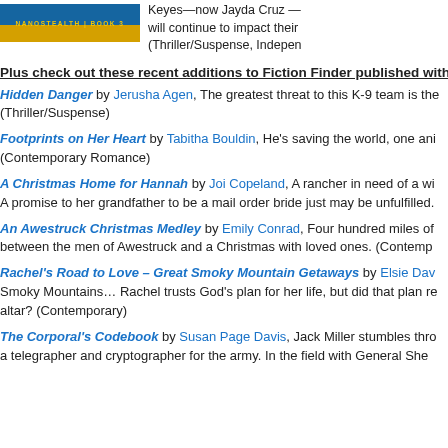[Figure (illustration): Book cover banner for Nanostealth Book 3 with dark blue and gold coloring]
Keyes—now Jayda Cruz — will continue to impact their (Thriller/Suspense, Indepen
Plus check out these recent additions to Fiction Finder published with
Hidden Danger by Jerusha Agen, The greatest threat to this K-9 team is the (Thriller/Suspense)
Footprints on Her Heart by Tabitha Bouldin, He's saving the world, one ani (Contemporary Romance)
A Christmas Home for Hannah by Joi Copeland, A rancher in need of a wi A promise to her grandfather to be a mail order bride just may be unfulfilled.
An Awestruck Christmas Medley by Emily Conrad, Four hundred miles of between the men of Awestruck and a Christmas with loved ones. (Contemp
Rachel's Road to Love – Great Smoky Mountain Getaways by Elsie Dav Smoky Mountains… Rachel trusts God's plan for her life, but did that plan re altar? (Contemporary)
The Corporal's Codebook by Susan Page Davis, Jack Miller stumbles thro a telegrapher and cryptographer for the army. In the field with General She